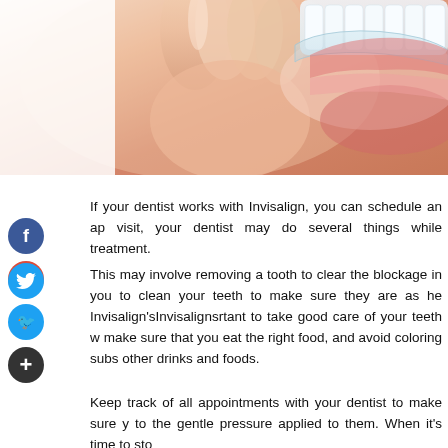[Figure (photo): Close-up photo of a person inserting or removing a clear dental aligner/Invisalign tray from their teeth, showing fingers holding the transparent tray near the mouth with teeth visible.]
If your dentist works with Invisalign, you can schedule an ap visit, your dentist may do several things while treatment.
This may involve removing a tooth to clear the blockage in you to clean your teeth to make sure they are as he Invisalign'sInvisalignsrtant to take good care of your teeth w make sure that you eat the right food, and avoid coloring subs other drinks and foods.
Keep track of all appointments with your dentist to make sure y to the gentle pressure applied to them. When it's time to sto